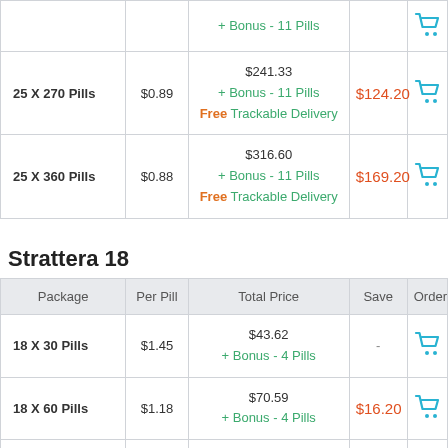| Package | Per Pill | Total Price | Save | Order |
| --- | --- | --- | --- | --- |
| 25 X 270 Pills | $0.89 | $241.33 + Bonus - 11 Pills Free Trackable Delivery | $124.20 | [cart] |
| 25 X 360 Pills | $0.88 | $316.60 + Bonus - 11 Pills Free Trackable Delivery | $169.20 | [cart] |
Strattera 18
| Package | Per Pill | Total Price | Save | Order |
| --- | --- | --- | --- | --- |
| 18 X 30 Pills | $1.45 | $43.62 + Bonus - 4 Pills | - | [cart] |
| 18 X 60 Pills | $1.18 | $70.59 + Bonus - 4 Pills | $16.20 | [cart] |